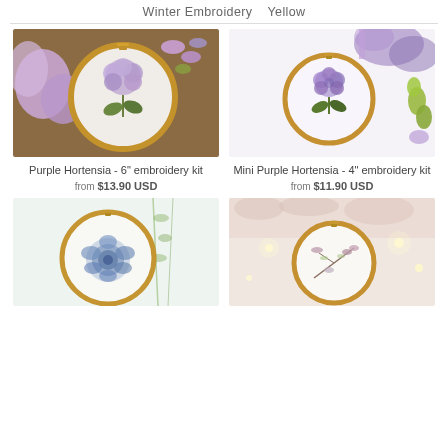Winter Embroidery   Yellow
[Figure (photo): Embroidery hoop with purple hydrangea flower design, surrounded by pink flowers and thread spools on a wooden background]
[Figure (photo): Small embroidery hoop with mini purple hydrangea design on white fabric, with green thread rolls nearby]
Purple Hortensia - 6" embroidery kit
from $13.90 USD
Mini Purple Hortensia - 4" embroidery kit
from $11.90 USD
[Figure (photo): Embroidery hoop with blue rose design and green botanical stems on white fabric]
[Figure (photo): Embroidery hoop with delicate floral branch design on white fabric, surrounded by fairy lights and knitted fabric]